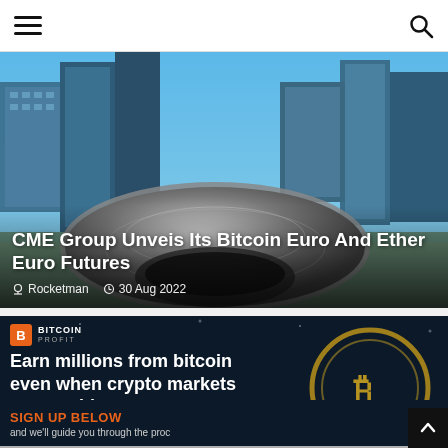Navigation bar with hamburger menu and search icon
[Figure (photo): Chicago Cloud Gate (The Bean) sculpture with city skyscrapers in background, blue sky. Hero image for article about CME Group Bitcoin Euro and Ether Euro Futures.]
CME Group Unveis Its Bitcoin Euro And Ether Euro Futures
Rocketman   30 Aug 2022
[Figure (photo): Bitcoin Profit advertisement banner with dark navy background showing golden Bitcoin symbol circle graphic. Text reads: Earn millions from bitcoin even when crypto markets are crashing. Join today and see how much you can make.]
SIGN UP BELOW and we'll guide you through the proc...